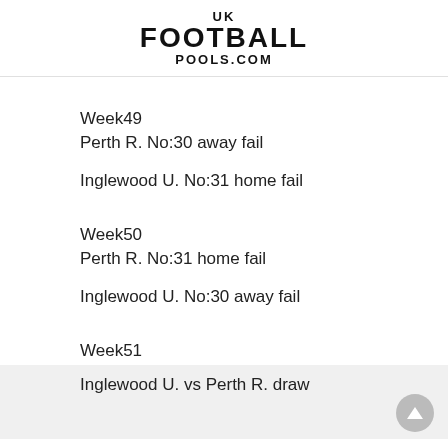[Figure (logo): UK Football Pools.com logo with bold stacked text]
Week49
Perth R. No:30 away fail
Inglewood U. No:31 home fail
Week50
Perth R. No:31 home fail
Inglewood U. No:30 away fail
Week51
Inglewood U. vs Perth R. draw